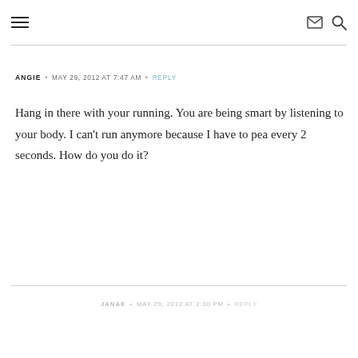≡  ✉ 🔍
ANGIE • MAY 29, 2012 AT 7:47 AM • REPLY
Hang in there with your running. You are being smart by listening to your body. I can't run anymore because I have to pea every 2 seconds. How do you do it?
JANAE • MAY 29, 2012 AT 2:30 PM • REPLY